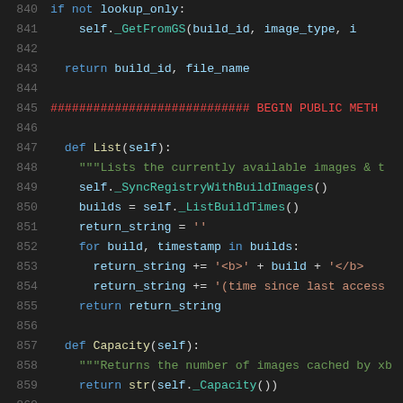[Figure (screenshot): Source code viewer showing Python code lines 840-861 with syntax highlighting on a dark background. Lines 840-843 show an if/return block. Line 845 shows a comment with hash marks and BEGIN PUBLIC METH. Lines 847-855 define a List method. Lines 857-859 define a Capacity method. Line 860 is blank, and line 861 is partially visible.]